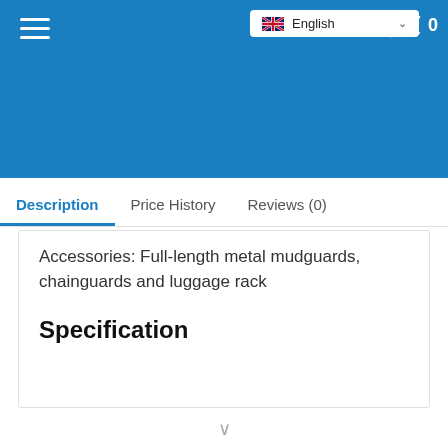[Figure (screenshot): Blue header navigation bar with hamburger menu, English language selector with UK flag, search icon, and cart icon showing 0 items]
Description  Price History  Reviews (0)
Accessories: Full-length metal mudguards, chainguards and luggage rack
Specification